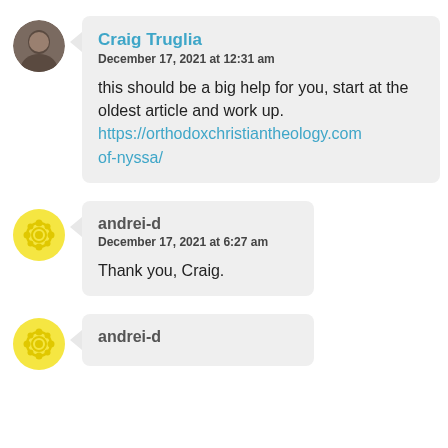[Figure (photo): Avatar photo of Craig Truglia, circular profile picture showing a person]
Craig Truglia
December 17, 2021 at 12:31 am

this should be a big help for you, start at the oldest article and work up.
https://orthodoxchristiantheology.com...of-nyssa/
[Figure (illustration): Yellow decorative circular avatar for andrei-d]
andrei-d
December 17, 2021 at 6:27 am

Thank you, Craig.
[Figure (illustration): Yellow decorative circular avatar for andrei-d (second comment)]